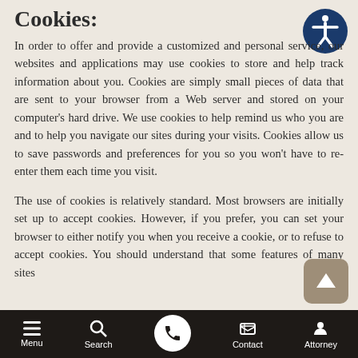Cookies
In order to offer and provide a customized and personal service, our websites and applications may use cookies to store and help track information about you. Cookies are simply small pieces of data that are sent to your browser from a Web server and stored on your computer's hard drive. We use cookies to help remind us who you are and to help you navigate our sites during your visits. Cookies allow us to save passwords and preferences for you so you won't have to re-enter them each time you visit.
The use of cookies is relatively standard. Most browsers are initially set up to accept cookies. However, if you prefer, you can set your browser to either notify you when you receive a cookie, or to refuse to accept cookies. You should understand that some features of many sites
Menu  Search  Contact  Attorney